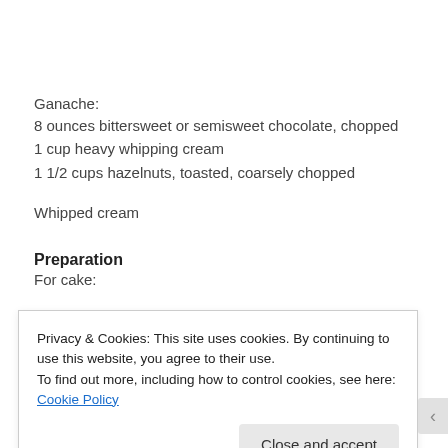Ganache:
8 ounces bittersweet or semisweet chocolate, chopped
1 cup heavy whipping cream
1 1/2 cups hazelnuts, toasted, coarsely chopped
Whipped cream
Preparation
For cake:
Privacy & Cookies: This site uses cookies. By continuing to use this website, you agree to their use. To find out more, including how to control cookies, see here: Cookie Policy
Close and accept